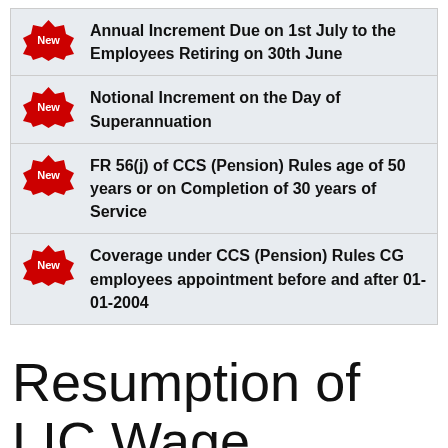Annual Increment Due on 1st July to the Employees Retiring on 30th June
Notional Increment on the Day of Superannuation
FR 56(j) of CCS (Pension) Rules age of 50 years or on Completion of 30 years of Service
Coverage under CCS (Pension) Rules CG employees appointment before and after 01-01-2004
Resumption of LIC Wage Negotiations